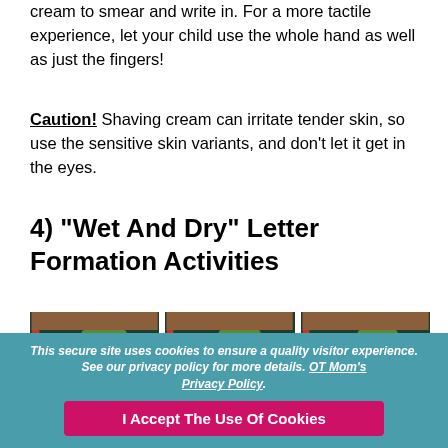cream to smear and write in. For a more tactile experience, let your child use the whole hand as well as just the fingers!
Caution! Shaving cream can irritate tender skin, so use the sensitive skin variants, and don't let it get in the eyes.
4) "Wet And Dry" Letter Formation Activities
[Figure (photo): Three sequential photos showing a child's hand forming the letter C on a dark chalkboard/slate surface. Each photo shows a different stage: drawing the circle outline, partial C shape, and completed C shape. All photos have 'OT Mom Learning Activities' watermark.]
This secure site uses cookies to ensure a quality visitor experience. See our privacy policy for more details. OT Mom's Privacy Policy.
I Accept The Use Of Cookies